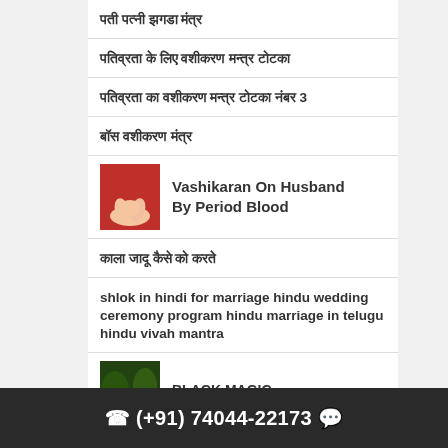पती पत्नी झगडा मंत्र
पतिव्रता के लिए वशीकरण मन्त्र टोटका
पतिव्रता का वशीकरण मन्त्र टोटका नंबर 3
बॉस वशीकरण मंत्र
[Figure (photo): Red background with hands clasped, article thumbnail for Vashikaran On Husband By Period Blood]
Vashikaran On Husband By Period Blood
काला जादू कैसे को करते
shlok in hindi for marriage hindu wedding ceremony program hindu marriage in telugu hindu vivah mantra
[Figure (photo): Green/dark jungle background, thumbnail for BLACK MAGIC article by TANTRIK VIKASH JI]
BLACK MAGIC
(+91) 74044-22173